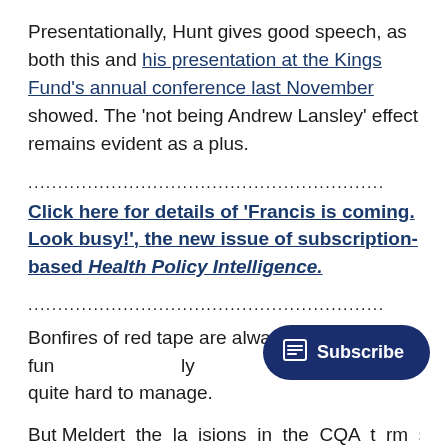Presentationally, Hunt gives good speech, as both this and his presentation at the Kings Fund's annual conference last November showed. The 'not being Andrew Lansley' effect remains evident as a plus.
............................................................
Click here for details of 'Francis is coming. Look busy!', the new issue of subscription-based Health Policy Intelligence.
............................................................
Bonfires of red tape are always fun quite hard to manage.
But Meldert decisions in the CQA terms are with